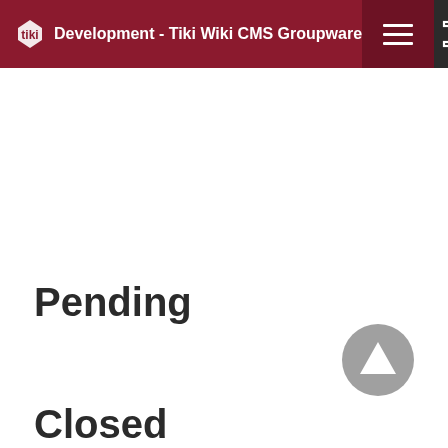Development - Tiki Wiki CMS Groupware
Pending
[Figure (other): Scroll-to-top button: circular grey button with upward-pointing triangle/arrow icon]
Closed